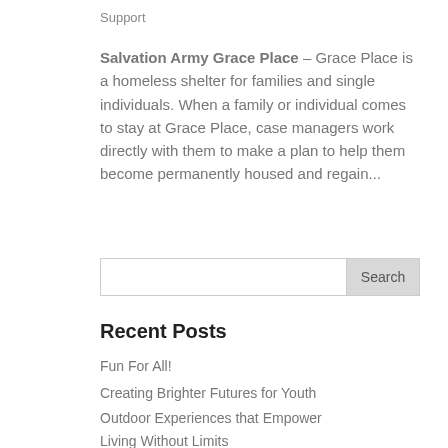Support
Salvation Army Grace Place  – Grace Place is a homeless shelter for families and single individuals. When a family or individual comes to stay at Grace Place, case managers work directly with them to make a plan to help them become permanently housed and regain...
Recent Posts
Fun For All!
Creating Brighter Futures for Youth
Outdoor Experiences that Empower
Living Without Limits